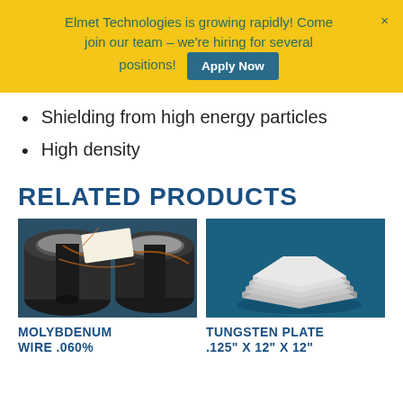Elmet Technologies is growing rapidly! Come join our team – we're hiring for several positions! Apply Now
Shielding from high energy particles
High density
RELATED PRODUCTS
[Figure (photo): Spools of molybdenum wire with copper-colored winding on a blue background]
[Figure (photo): Stack of tungsten plates on a blue background]
MOLYBDENUM WIRE .060%
TUNGSTEN PLATE .125" X 12" X 12"